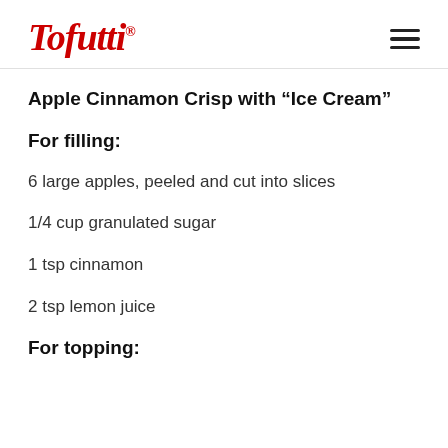Tofutti [logo]
Apple Cinnamon Crisp with “Ice Cream”
For filling:
6 large apples, peeled and cut into slices
1/4 cup granulated sugar
1 tsp cinnamon
2 tsp lemon juice
For topping: